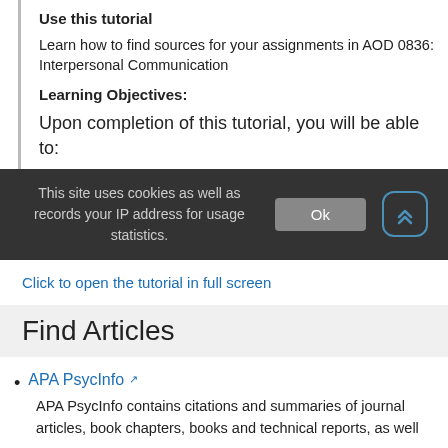Use this tutorial
Learn how to find sources for your assignments in AOD 0836: Interpersonal Communication
Learning Objectives:
Upon completion of this tutorial, you will be able to:
This site uses cookies as well as records your IP address for usage statistics.
Click to open the tutorial in full screen
Find Articles
APA PsycInfo
APA PsycInfo contains citations and summaries of journal articles, book chapters, books and technical reports, as well as citations to dissertations all in the field of psychology and...